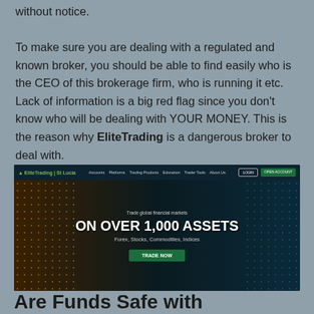without notice. To make sure you are dealing with a regulated and known broker, you should be able to find easily who is the CEO of this brokerage firm, who is running it etc. Lack of information is a big red flag since you don't know who will be dealing with YOUR MONEY. This is the reason why EliteTrading is a dangerous broker to deal with.
[Figure (screenshot): Screenshot of the EliteTrading website homepage showing navigation bar with logo, menu links (Accounts, Platforms, Trading Products, Education, Trader Tools, About Us), Login and Open Account buttons. Hero section reads 'Trade global financial markets ON OVER 1,000 ASSETS Forex, Stocks, Commodities, Indices' with a TRADE NOW button. Background shows silhouetted trading figures with orange dot-matrix patterns on left and blue on right.]
Are Funds Safe with